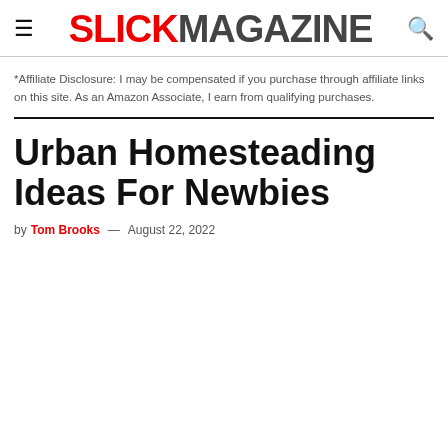SLICK MAGAZINE
*Affiliate Disclosure: I may be compensated if you purchase through affiliate links on this site. As an Amazon Associate, I earn from qualifying purchases.
Urban Homesteading Ideas For Newbies
by Tom Brooks — August 22, 2022